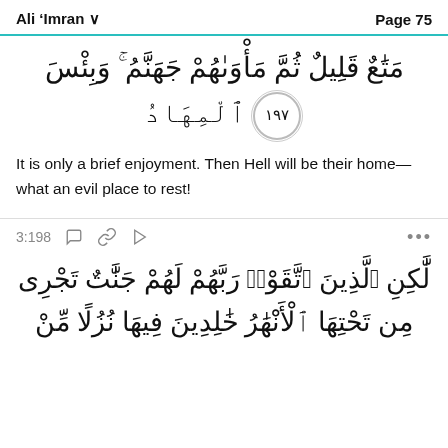Ali 'Imran   Page 75
مَتَٰعٌ قَلِيلٌ ثُمَّ مَأْوَىٰهُمْ جَهَنَّمُ ۚ وَبِئْسَ ٱلْمِهَادُ ۝١٩٧
It is only a brief enjoyment. Then Hell will be their home—what an evil place to rest!
3:198
لَّٰكِنِ ٱلَّذِينَ ٱتَّقَوْا۟ رَبَّهُمْ لَهُمْ جَنَّٰتٌ تَجْرِى مِن تَحْتِهَا ٱلْأَنْهَٰرُ خَٰلِدِينَ فِيهَا نُزُلًا مِّنْ